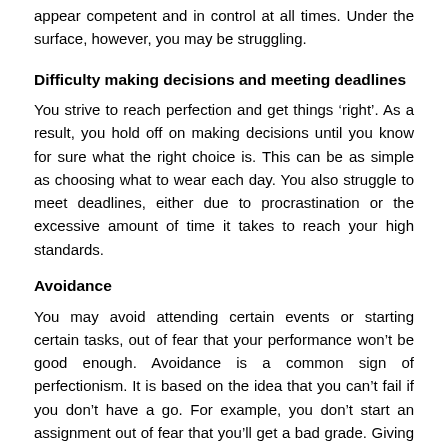appear competent and in control at all times. Under the surface, however, you may be struggling.
Difficulty making decisions and meeting deadlines
You strive to reach perfection and get things 'right'. As a result, you hold off on making decisions until you know for sure what the right choice is. This can be as simple as choosing what to wear each day. You also struggle to meet deadlines, either due to procrastination or the excessive amount of time it takes to reach your high standards.
Avoidance
You may avoid attending certain events or starting certain tasks, out of fear that your performance won't be good enough. Avoidance is a common sign of perfectionism. It is based on the idea that you can't fail if you don't have a go. For example, you don't start an assignment out of fear that you'll get a bad grade. Giving up too soon because things